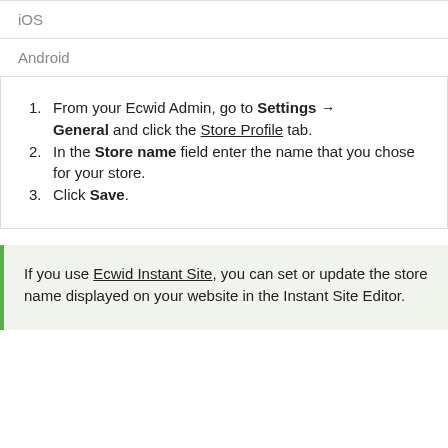iOS
Android
From your Ecwid Admin, go to Settings → General and click the Store Profile tab.
In the Store name field enter the name that you chose for your store.
Click Save.
If you use Ecwid Instant Site, you can set or update the store name displayed on your website in the Instant Site Editor.